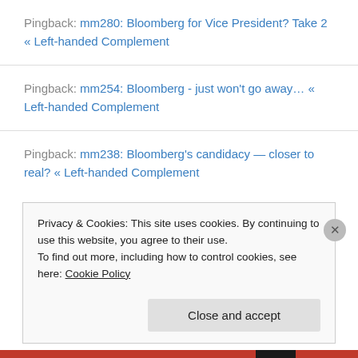Pingback: mm280: Bloomberg for Vice President? Take 2 « Left-handed Complement
Pingback: mm254: Bloomberg - just won't go away… « Left-handed Complement
Pingback: mm238: Bloomberg's candidacy — closer to real? « Left-handed Complement
Privacy & Cookies: This site uses cookies. By continuing to use this website, you agree to their use.
To find out more, including how to control cookies, see here: Cookie Policy